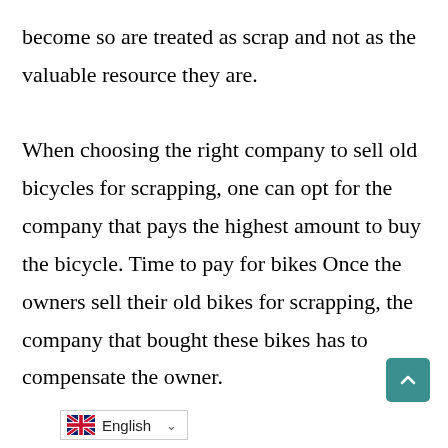become so are treated as scrap and not as the valuable resource they are.

When choosing the right company to sell old bicycles for scrapping, one can opt for the company that pays the highest amount to buy the bicycle. Time to pay for bikes Once the owners sell their old bikes for scrapping, the company that bought these bikes has to compensate the owner.